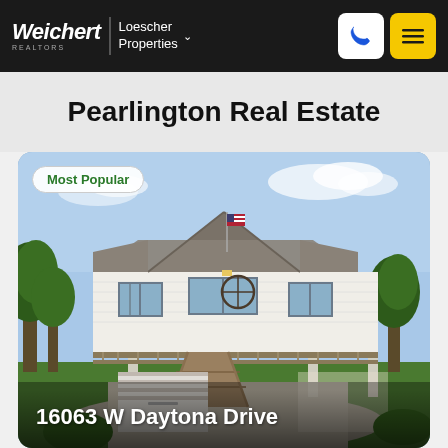Weichert | Loescher Properties
Pearlington Real Estate
[Figure (photo): Exterior photo of a two-story white elevated house with a wrap-around deck, American flag, garage below, and green lawn. Labeled 'Most Popular' with address overlay '16063 W Daytona Drive'.]
16063 W Daytona Drive